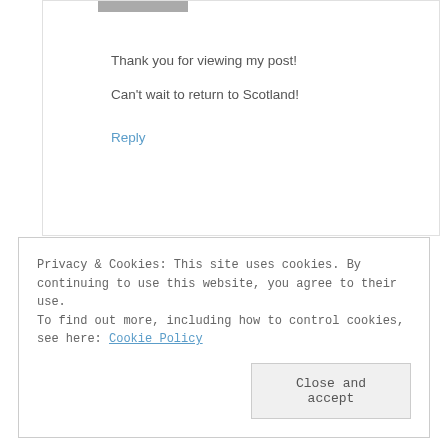[Figure (photo): Partial avatar/profile image strip at the top of comment box]
Thank you for viewing my post!
Can't wait to return to Scotland!
Reply
Privacy & Cookies: This site uses cookies. By continuing to use this website, you agree to their use.
To find out more, including how to control cookies, see here: Cookie Policy
Close and accept